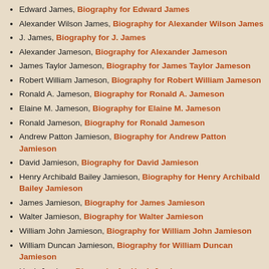Edward James, Biography for Edward James
Alexander Wilson James, Biography for Alexander Wilson James
J. James, Biography for J. James
Alexander Jameson, Biography for Alexander Jameson
James Taylor Jameson, Biography for James Taylor Jameson
Robert William Jameson, Biography for Robert William Jameson
Ronald A. Jameson, Biography for Ronald A. Jameson
Elaine M. Jameson, Biography for Elaine M. Jameson
Ronald Jameson, Biography for Ronald Jameson
Andrew Patton Jamieson, Biography for Andrew Patton Jamieson
David Jamieson, Biography for David Jamieson
Henry Archibald Bailey Jamieson, Biography for Henry Archibald Bailey Jamieson
James Jamieson, Biography for James Jamieson
Walter Jamieson, Biography for Walter Jamieson
William John Jamieson, Biography for William John Jamieson
William Duncan Jamieson, Biography for William Duncan Jamieson
Hugh Jamison, Biography for Hugh Jamison
Albert William Gray Jamrach, Biography for Albert William Gray Jamrach
Frederick T. Jane, Biography for Frederick T. Jane
Alfred Jones, Biography for Alfred Jones